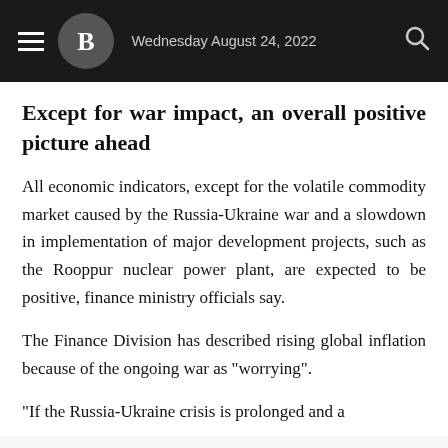Wednesday August 24, 2022
Except for war impact, an overall positive picture ahead
All economic indicators, except for the volatile commodity market caused by the Russia-Ukraine war and a slowdown in implementation of major development projects, such as the Rooppur nuclear power plant, are expected to be positive, finance ministry officials say.
The Finance Division has described rising global inflation because of the ongoing war as "worrying".
"If the Russia-Ukraine crisis is prolonged and a